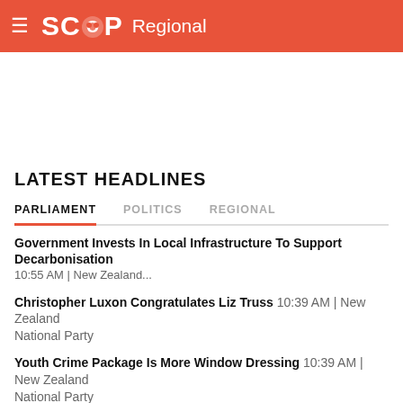SCOOP Regional
[Figure (other): Advertisement / blank white space area]
LATEST HEADLINES
PARLIAMENT | POLITICS | REGIONAL (tabs)
Government Invests In Local Infrastructure To Support Decarbonisation 10:55 AM | New Zealand...
Christopher Luxon Congratulates Liz Truss 10:39 AM | New Zealand National Party
Youth Crime Package Is More Window Dressing 10:39 AM | New Zealand National Party
No Support For Police In Today's Announcement 10:38 AM | ACT New Zealand